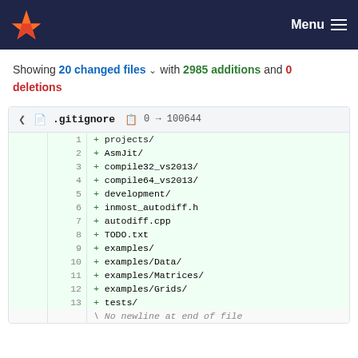GitLab — Menu
Showing 20 changed files with 2985 additions and 0 deletions
| old line | new line | code |
| --- | --- | --- |
|  | 1 | + projects/ |
|  | 2 | + AsmJit/ |
|  | 3 | + compile32_vs2013/ |
|  | 4 | + compile64_vs2013/ |
|  | 5 | + development/ |
|  | 6 | + inmost_autodiff.h |
|  | 7 | + autodiff.cpp |
|  | 8 | + TODO.txt |
|  | 9 | + examples/ |
|  | 10 | + examples/Data/ |
|  | 11 | + examples/Matrices/ |
|  | 12 | + examples/Grids/ |
|  | 13 | + tests/ |
|  |  | \ No newline at end of file |